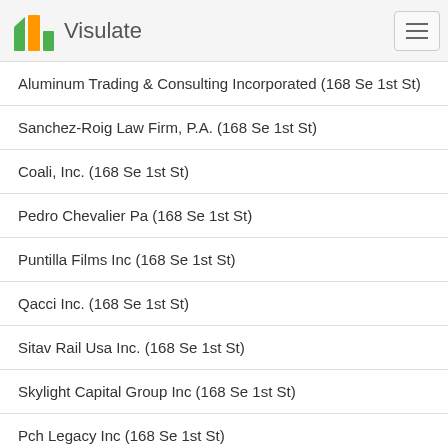Visulate
Aluminum Trading & Consulting Incorporated (168 Se 1st St)
Sanchez-Roig Law Firm, P.A. (168 Se 1st St)
Coali, Inc. (168 Se 1st St)
Pedro Chevalier Pa (168 Se 1st St)
Puntilla Films Inc (168 Se 1st St)
Qacci Inc. (168 Se 1st St)
Sitav Rail Usa Inc. (168 Se 1st St)
Skylight Capital Group Inc (168 Se 1st St)
Pch Legacy Inc (168 Se 1st St)
Heiga Usa, Inc. (168 Se 1st St)